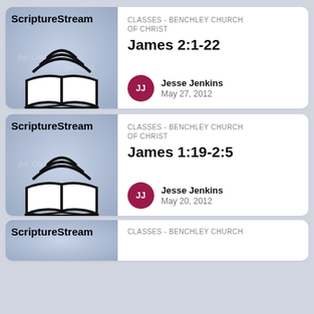[Figure (logo): ScriptureStream logo with open book and wifi-style arc above it on a blue-grey gradient background]
CLASSES - BENCHLEY CHURCH OF CHRIST
James 2:1-22
Jesse Jenkins
May 27, 2012
[Figure (logo): ScriptureStream logo with open book and wifi-style arc above it on a blue-grey gradient background]
CLASSES - BENCHLEY CHURCH OF CHRIST
James 1:19-2:5
Jesse Jenkins
May 20, 2012
[Figure (logo): ScriptureStream logo partial, blue-grey gradient background]
CLASSES - BENCHLEY CHURCH